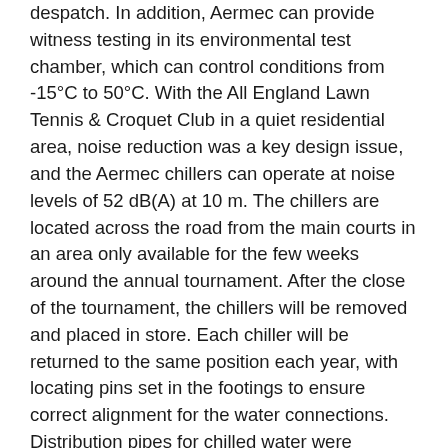despatch. In addition, Aermec can provide witness testing in its environmental test chamber, which can control conditions from -15°C to 50°C. With the All England Lawn Tennis & Croquet Club in a quiet residential area, noise reduction was a key design issue, and the Aermec chillers can operate at noise levels of 52 dB(A) at 10 m. The chillers are located across the road from the main courts in an area only available for the few weeks around the annual tournament. After the close of the tournament, the chillers will be removed and placed in store. Each chiller will be returned to the same position each year, with locating pins set in the footings to ensure correct alignment for the water connections. Distribution pipes for chilled water were installed below ground by Skanska in excavations by Galliford Try Construction. They are routed under a road that separates the chiller farm from the courts. Single-core flexible cable to each electrical phase allows the same cable to be used each year. Lugs and glands at the chiller ends of the cables